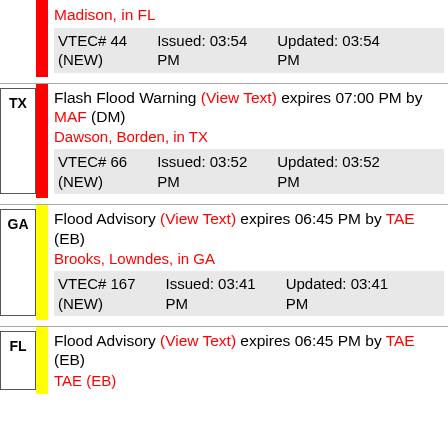Madison, in FL
| VTEC# | Issued | Updated |
| --- | --- | --- |
| VTEC# 44 (NEW) | Issued: 03:54 PM | Updated: 03:54 PM |
Flash Flood Warning (View Text) expires 07:00 PM by MAF (DM)
Dawson, Borden, in TX
| VTEC# | Issued | Updated |
| --- | --- | --- |
| VTEC# 66 (NEW) | Issued: 03:52 PM | Updated: 03:52 PM |
Flood Advisory (View Text) expires 06:45 PM by TAE (EB)
Brooks, Lowndes, in GA
| VTEC# | Issued | Updated |
| --- | --- | --- |
| VTEC# 167 (NEW) | Issued: 03:41 PM | Updated: 03:41 PM |
Flood Advisory (View Text) expires 06:45 PM by TAE (EB)